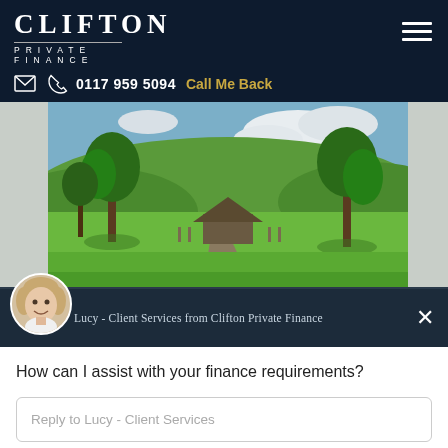CLIFTON PRIVATE FINANCE
0117 959 5094  Call Me Back
[Figure (photo): Rural countryside scene with thatched-roof building, green meadows, trees, and a winding path under cloudy sky]
Lucy - Client Services from Clifton Private Finance
How can I assist with your finance requirements?
Reply to Lucy - Client Services
Chat ⚡ by Drift